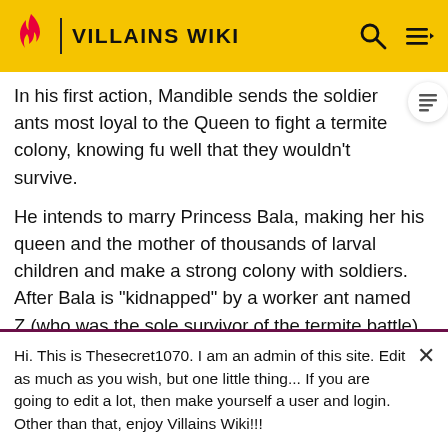VILLAINS WIKI
In his first action, Mandible sends the soldier ants most loyal to the Queen to fight a termite colony, knowing fu well that they wouldn't survive.
He intends to marry Princess Bala, making her his queen and the mother of thousands of larval children and make a strong colony with soldiers. After Bala is "kidnapped" by a worker ant named Z (who was the sole survivor of the termite battle), Mandible attempts to find their whereabouts. He has some of his soldiers beat up Z's soldier friend Weaver to get information out of him, but he
Hi. This is Thesecret1070. I am an admin of this site. Edit as much as you wish, but one little thing... If you are going to edit a lot, then make yourself a user and login. Other than that, enjoy Villains Wiki!!!